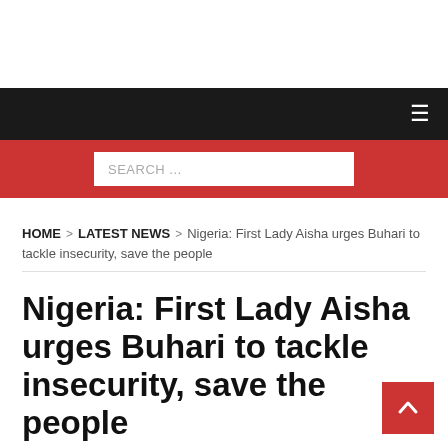SEARCH ...
HOME > LATEST NEWS > Nigeria: First Lady Aisha urges Buhari to tackle insecurity, save the people
Nigeria: First Lady Aisha urges Buhari to tackle insecurity, save the people
The Daily Leaks